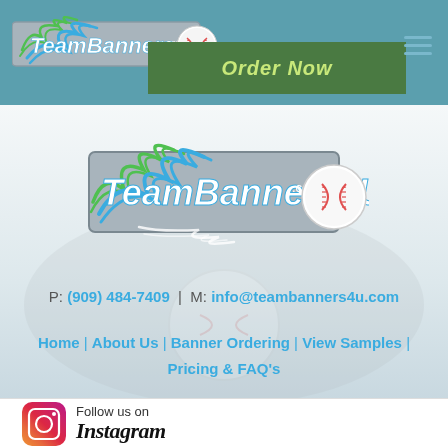TeamBanners4U.com — Order Now
[Figure (logo): TeamBanners4U.com logo with baseball and blue flame, large centered version]
P: (909) 484-7409 | M: info@teambanners4u.com
Home | About Us | Banner Ordering | View Samples | Pricing & FAQ's
[Figure (logo): Instagram logo icon (rounded square gradient purple-orange)]
Follow us on Instagram